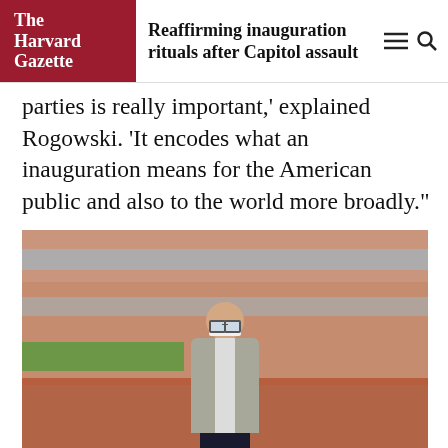The Harvard Gazette — Reaffirming inauguration rituals after Capitol assault
parties is really important,' explained Rogowski. 'It encodes what an inauguration means for the American public and also to the world more broadly.'
[Figure (photo): Jon Rogowski, a man wearing glasses and a white face mask and a grey blazer, sits outdoors in front of a red-brick modern building on a sunny day.]
Jon Rogowski.  Jon Chase/Harvard Staff Photographer